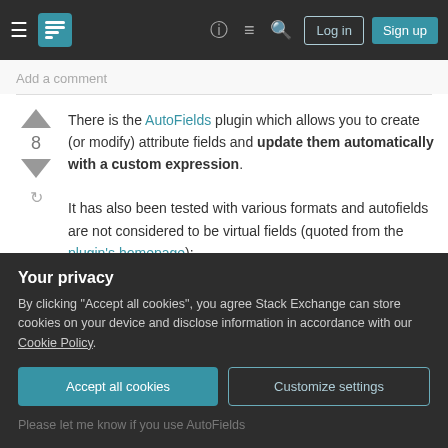Stack Exchange navigation bar with hamburger menu, logo, help, chat, search icons, Log in and Sign up buttons
Add a comment
There is the AutoFields plugin which allows you to create (or modify) attribute fields and update them automatically with a custom expression.
It has also been tested with various formats and autofields are not considered to be virtual fields (quoted from the plugin's homepage):
Do AutoFields work with jXLvector
Your privacy
By clicking "Accept all cookies", you agree Stack Exchange can store cookies on your device and disclose information in accordance with our Cookie Policy.
Accept all cookies
Customize settings
Please let me know if you use AutoFields